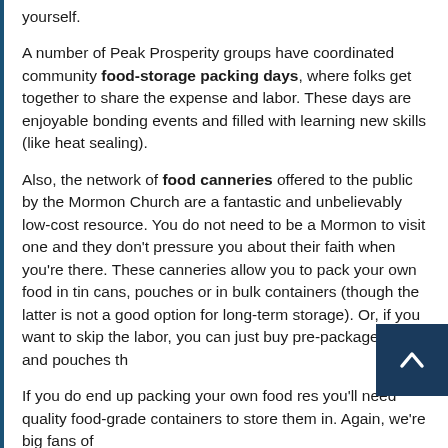yourself.
A number of Peak Prosperity groups have coordinated community food-storage packing days, where folks get together to share the expense and labor. These days are enjoyable bonding events and filled with learning new skills (like heat sealing).
Also, the network of food canneries offered to the public by the Mormon Church are a fantastic and unbelievably low-cost resource. You do not need to be a Mormon to visit one and they don't pressure you about their faith when you're there. These canneries allow you to pack your own food in tin cans, pouches or in bulk containers (though the latter is not a good option for long-term storage). Or, if you want to skip the labor, you can just buy pre-packaged cans and pouches th
If you do end up packing your own food res you'll need quality food-grade containers to store them in. Again, we're big fans of